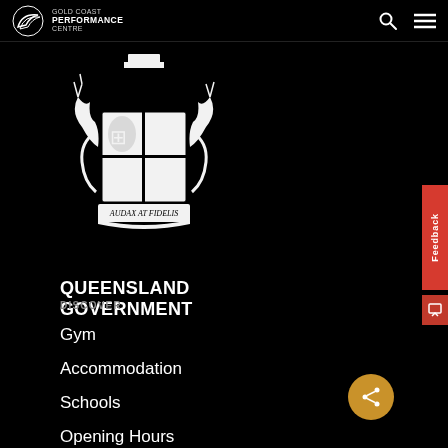GOLD COAST PERFORMANCE CENTRE
[Figure (logo): Queensland Government coat of arms crest with text AUDAX AT FIDELIS beneath, white on black background]
QUEENSLAND GOVERNMENT
DISCOVER
Gym
Accommodation
Schools
Opening Hours